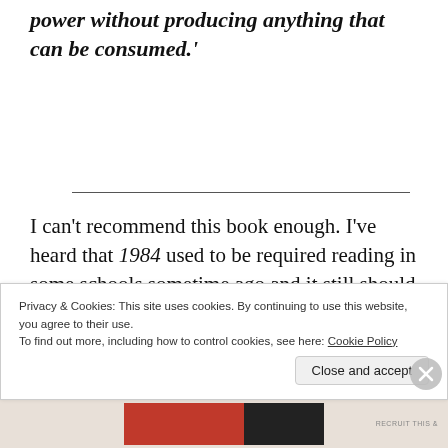power without producing anything that can be consumed.'
I can't recommend this book enough. I've heard that 1984 used to be required reading in some schools sometime ago and it still should be. Just
Privacy & Cookies: This site uses cookies. By continuing to use this website, you agree to their use.
To find out more, including how to control cookies, see here: Cookie Policy
Close and accept